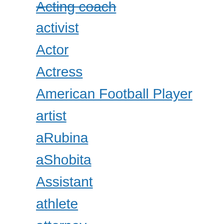Acting coach
activist
Actor
Actress
American Football Player
artist
aRubina
aShobita
Assistant
athlete
attorney
Author
auto mechanic
Barber